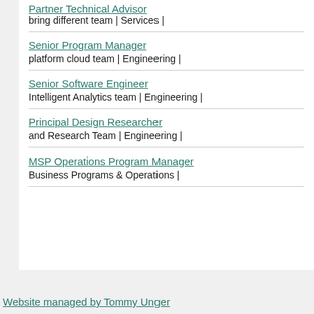Partner Technical Advisor
bring different team | Services |
Senior Program Manager
platform cloud team | Engineering |
Senior Software Engineer
Intelligent Analytics team | Engineering |
Principal Design Researcher
and Research Team | Engineering |
MSP Operations Program Manager
Business Programs & Operations |
Website managed by Tommy Unger